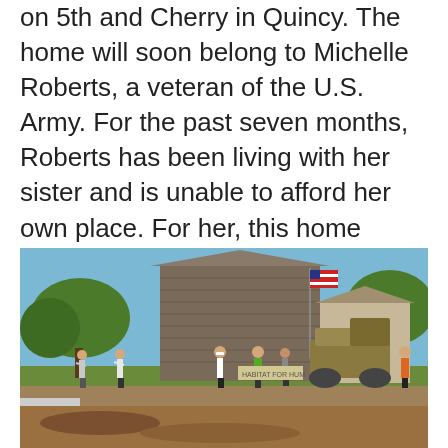on 5th and Cherry in Quincy. The home will soon belong to Michelle Roberts, a veteran of the U.S. Army. For the past seven months, Roberts has been living with her sister and is unable to afford her own place. For her, this home means everything. “Speechless, I still am, overwhelmed,” explained Roberts.
[Figure (photo): Outdoor scene showing a house being moved or workers doing construction on a residential street. Multiple workers stand watching near a large piece of heavy machinery. An American flag is visible near the house. Trees and blue sky are in the background.]